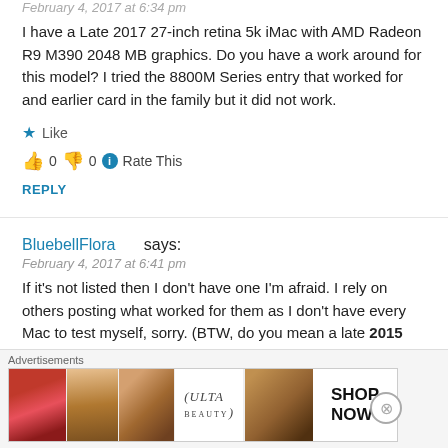February 4, 2017 at 6:34 pm
I have a Late 2017 27-inch retina 5k iMac with AMD Radeon R9 M390 2048 MB graphics. Do you have a work around for this model? I tried the 8800M Series entry that worked for and earlier card in the family but it did not work.
★ Like
👍 0 👎 0 ℹ Rate This
REPLY
BluebellFlora says:
February 4, 2017 at 6:41 pm
If it's not listed then I don't have one I'm afraid. I rely on others posting what worked for them as I don't have every Mac to test myself, sorry. (BTW, do you mean a late 2015 iMac?)
Advertisements
[Figure (illustration): Advertisement banner for ULTA beauty products showing lips, makeup brush, eye, ULTA logo, eye closeup, and SHOP NOW text]